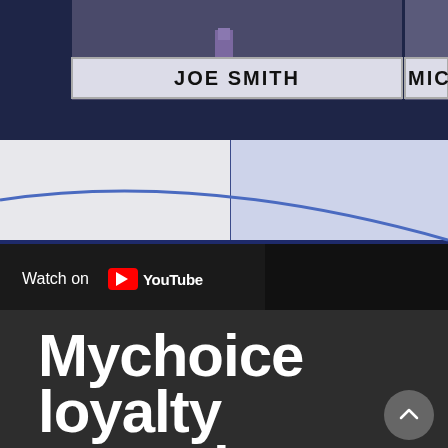[Figure (screenshot): YouTube video thumbnail showing two news anchors with name bars. Left name bar reads 'JOE SMITH', right name bar is partially visible showing 'MIC'. Below the anchors is a dark navy panel with a curved design element. A 'Watch on YouTube' button appears at the bottom of the video embed area.]
Mychoice loyalty rewards
Discover all the great experiences waiting for you in Olympia and beyond. One of the notable and distinguishing thing about this casino is their means of